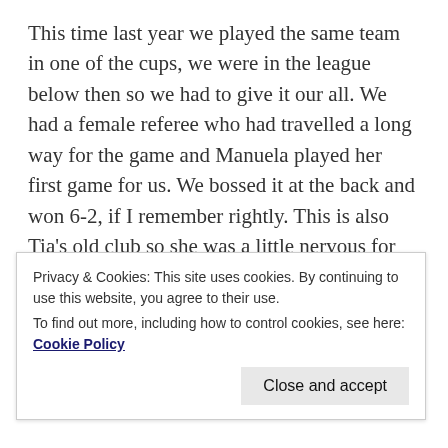This time last year we played the same team in one of the cups, we were in the league below then so we had to give it our all. We had a female referee who had travelled a long way for the game and Manuela played her first game for us. We bossed it at the back and won 6-2, if I remember rightly. This is also Tia's old club so she was a little nervous for the game ahead.
Today's game was in the league and we really needed a win from the hard time we've had over the last month or so.
Privacy & Cookies: This site uses cookies. By continuing to use this website, you agree to their use.
To find out more, including how to control cookies, see here: Cookie Policy
Close and accept